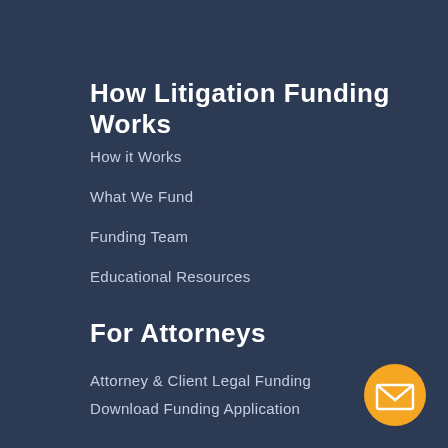How Litigation Funding Works
How it Works
What We Fund
Funding Team
Educational Resources
For Attorneys
Attorney & Client Legal Funding
Download Funding Application
Settled Case Funding
Attorney Funding
News & Tips
[Figure (illustration): Orange circular email/envelope button icon in bottom right corner]